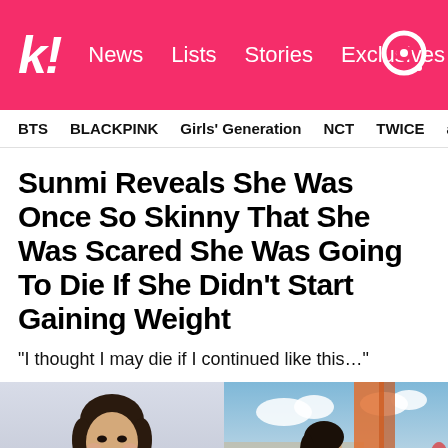k! News Lists Stories Exclusives
BTS  BLACKPINK  Girls' Generation  NCT  TWICE  aespa
Sunmi Reveals She Was Once So Skinny That She Was Scared She Was Going To Die If She Didn't Start Gaining Weight
“I thought I may die if I continued like this…”
[Figure (photo): Two photos of Sunmi side by side. Left: a close-up portrait against a light background. Right: a full-body shot outdoors with colorful decorations in the background.]